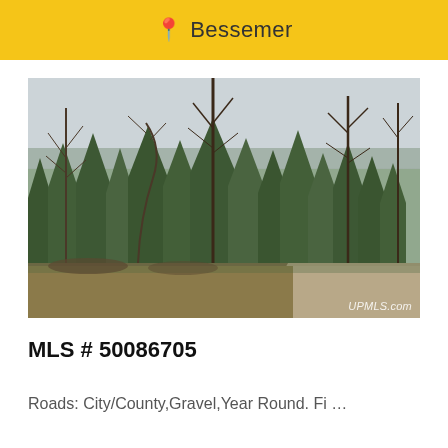Bessemer
[Figure (photo): Outdoor photo of a wooded land parcel with evergreen and bare deciduous trees lining a gravel road, taken in early spring or late autumn. Watermark reads UPMLS.com.]
MLS # 50086705
Roads: City/County,Gravel,Year Round. Fi …